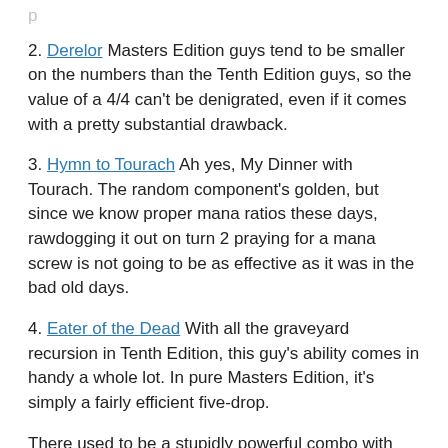2. Derelor Masters Edition guys tend to be smaller on the numbers than the Tenth Edition guys, so the value of a 4/4 can't be denigrated, even if it comes with a pretty substantial drawback.
3. Hymn to Tourach Ah yes, My Dinner with Tourach. The random component's golden, but since we know proper mana ratios these days, rawdogging it out on turn 2 praying for a mana screw is not going to be as effective as it was in the bad old days.
4. Eater of the Dead With all the graveyard recursion in Tenth Edition, this guy's ability comes in handy a whole lot. In pure Masters Edition, it's simply a fairly efficient five-drop.
There used to be a stupidly powerful combo with this card until it got errata. For the life of me, I can't recall what it was. Drop a line in the forums if you remember.